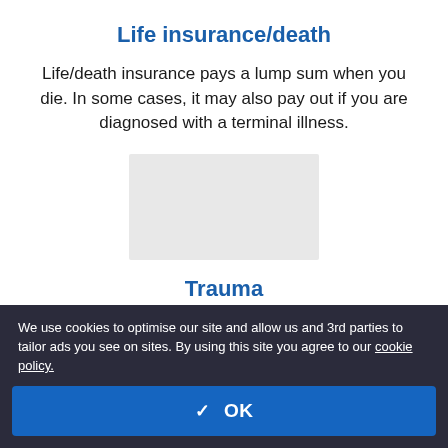Life insurance/death
Life/death insurance pays a lump sum when you die. In some cases, it may also pay out if you are diagnosed with a terminal illness.
[Figure (other): Gray placeholder image block]
Trauma
Trauma insurance pays a lump sum if you are diagnosed with a specific medical condition, such as meningitis or cancer.
We use cookies to optimise our site and allow us and 3rd parties to tailor ads you see on sites. By using this site you agree to our cookie policy.
✓ OK